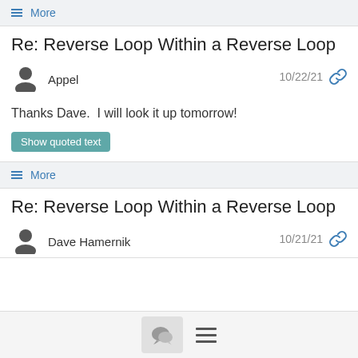≡ More
Re: Reverse Loop Within a Reverse Loop
Appel  10/22/21
Thanks Dave.  I will look it up tomorrow!
Show quoted text
≡ More
Re: Reverse Loop Within a Reverse Loop
Dave Hamernik  10/21/21